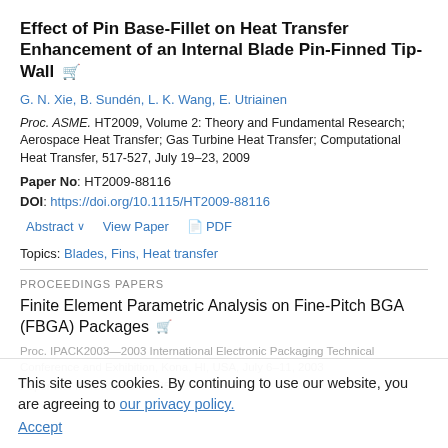Effect of Pin Base-Fillet on Heat Transfer Enhancement of an Internal Blade Pin-Finned Tip-Wall
G. N. Xie, B. Sundén, L. K. Wang, E. Utriainen
Proc. ASME. HT2009, Volume 2: Theory and Fundamental Research; Aerospace Heat Transfer; Gas Turbine Heat Transfer; Computational Heat Transfer, 517-527, July 19–23, 2009
Paper No: HT2009-88116
DOI: https://doi.org/10.1115/HT2009-88116
Abstract  View Paper  PDF
Topics: Blades, Fins, Heat transfer
PROCEEDINGS PAPERS
Finite Element Parametric Analysis on Fine-Pitch BGA (FBGA) Packages
This site uses cookies. By continuing to use our website, you are agreeing to our privacy policy. Accept